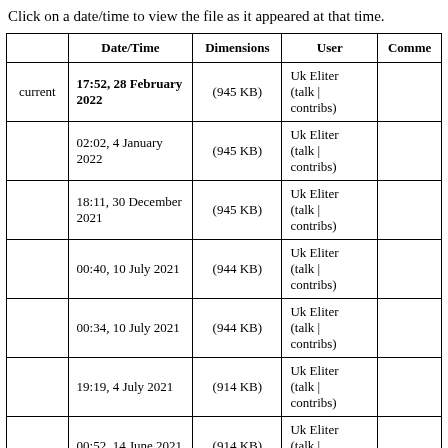Click on a date/time to view the file as it appeared at that time.
|  | Date/Time | Dimensions | User | Comment |
| --- | --- | --- | --- | --- |
| current | 17:52, 28 February 2022 | (945 KB) | Uk Eliter (talk | contribs) |  |
|  | 02:02, 4 January 2022 | (945 KB) | Uk Eliter (talk | contribs) |  |
|  | 18:11, 30 December 2021 | (945 KB) | Uk Eliter (talk | contribs) |  |
|  | 00:40, 10 July 2021 | (944 KB) | Uk Eliter (talk | contribs) |  |
|  | 00:34, 10 July 2021 | (944 KB) | Uk Eliter (talk | contribs) |  |
|  | 19:19, 4 July 2021 | (914 KB) | Uk Eliter (talk | contribs) |  |
|  | 00:52, 14 June 2021 | (914 KB) | Uk Eliter (talk | contribs) |  |
|  | 00:25, 14 June 2021 | (1.15 MB) | Uk Eliter (talk | contribs) |  |
|  |  |  |  |  |